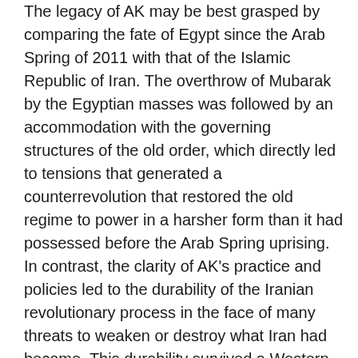The legacy of AK may be best grasped by comparing the fate of Egypt since the Arab Spring of 2011 with that of the Islamic Republic of Iran. The overthrow of Mubarak by the Egyptian masses was followed by an accommodation with the governing structures of the old order, which directly led to tensions that generated a counterrevolution that restored the old regime to power in a harsher form than it had possessed before the Arab Spring uprising. In contrast, the clarity of AK's practice and policies led to the durability of the Iranian revolutionary process in the face of many threats to weaken or destroy what Iran had become. This durability survived a Western- backed all-out military attack by Iraq on Iran in 1980 designed to weaken if not reverse the revolutionary changes brought about in 1979, and through continuous harassment and threats from such regional adversaries as Israel and Saudi Arabia with nuclear weapons as well as geopolitical pressures